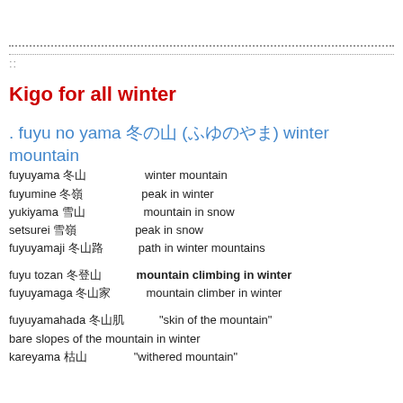Kigo for all winter
. fuyu no yama 冬の山 (ふゆのやま) winter mountain
fuyuyama 冬山　　　　winter mountain
fuyumine 冬嶺　　　　peak in winter
yukiyama 雪山　　　　mountain in snow
setsurei 雪嶺　　　　peak in snow
fuyuyamaji 冬山路　　　path in winter mountains
fuyu tozan 冬登山　　　mountain climbing in winter
fuyuyamaga 冬山家　　　mountain climber in winter
fuyuyamahada 冬山肌　　　"skin of the mountain"
bare slopes of the mountain in winter
kareyama 枯山　　　"withered mountain"